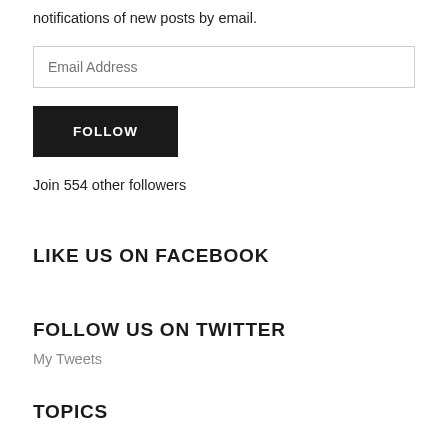notifications of new posts by email.
[Figure (other): Email Address input field]
[Figure (other): FOLLOW button (dark background, white text)]
Join 554 other followers
LIKE US ON FACEBOOK
FOLLOW US ON TWITTER
My Tweets
TOPICS